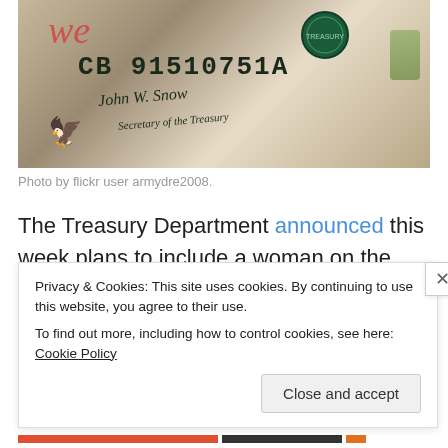[Figure (photo): Close-up photograph of a US dollar bill showing the serial number CB 91510751A, the signature of the Secretary of the Treasury (John W. Snow), and partial 'We the' text in red cursive along with a red decorative bird motif and green Treasury seal.]
Photo by flickr user armydre2008.
The Treasury Department announced this week plans to include a woman on the $10 bill as part of a planned redesign that will enter circulation after 2020. The
Privacy & Cookies: This site uses cookies. By continuing to use this website, you agree to their use.
To find out more, including how to control cookies, see here: Cookie Policy